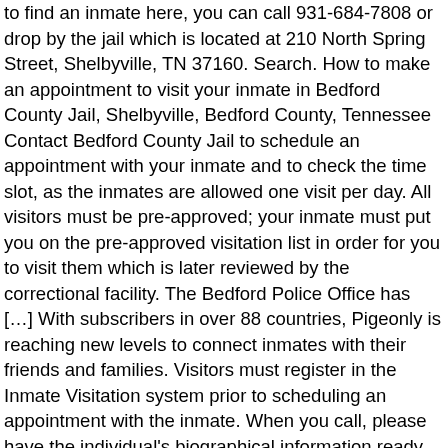to find an inmate here, you can call 931-684-7808 or drop by the jail which is located at 210 North Spring Street, Shelbyville, TN 37160. Search. How to make an appointment to visit your inmate in Bedford County Jail, Shelbyville, Bedford County, Tennessee Contact Bedford County Jail to schedule an appointment with your inmate and to check the time slot, as the inmates are allowed one visit per day. All visitors must be pre-approved; your inmate must put you on the pre-approved visitation list in order for you to visit them which is later reviewed by the correctional facility. The Bedford Police Office has […] With subscribers in over 88 countries, Pigeonly is reaching new levels to connect inmates with their friends and families. Visitors must register in the Inmate Visitation system prior to scheduling an appointment with the inmate. When you call, please have the individual's biographical information ready, including first, last and hyphenated names, any aliases he or she may use, date of birth and country of birth. All visitors are expected to present a valid, government issued photo ID.